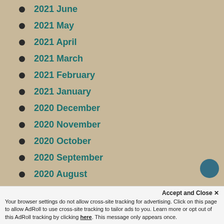2021 June
2021 May
2021 April
2021 March
2021 February
2021 January
2020 December
2020 November
2020 October
2020 September
2020 August
2020 July
Accept and Close ✕
Your browser settings do not allow cross-site tracking for advertising. Click on this page to allow AdRoll to use cross-site tracking to tailor ads to you. Learn more or opt out of this AdRoll tracking by clicking here. This message only appears once.